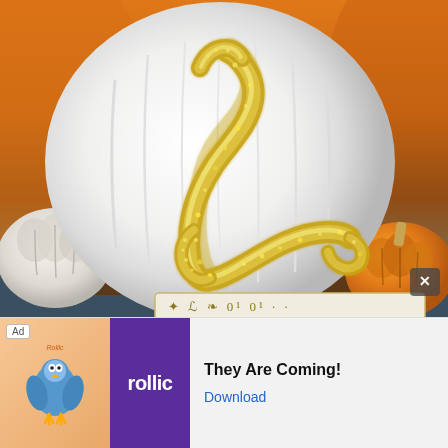[Figure (photo): A white pumpkin with a gold glitter decorative script letter 'L' on it, set against orange pumpkins and a teal/orange background. A partial banner with decorative text is visible at the bottom of the photo.]
[Figure (screenshot): Mobile advertisement banner at the bottom of the screen. Shows 'Ad' label, a bird mascot icon, Rollic (purple) logo, text 'They Are Coming!' and a blue 'Download' link. An X close button is visible.]